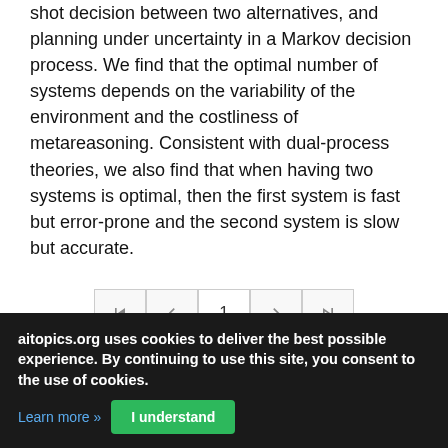shot decision between two alternatives, and planning under uncertainty in a Markov decision process. We find that the optimal number of systems depends on the variability of the environment and the costliness of metareasoning. Consistent with dual-process theories, we also find that when having two systems is optimal, then the first system is fast but error-prone and the second system is slow but accurate.
[Figure (other): Pagination controls showing: skip-to-first, previous, page 1, next, skip-to-last buttons]
© 2022, i2k Connect Inc · All Rights Reserved.
aitopics.org uses cookies to deliver the best possible experience. By continuing to use this site, you consent to the use of cookies.